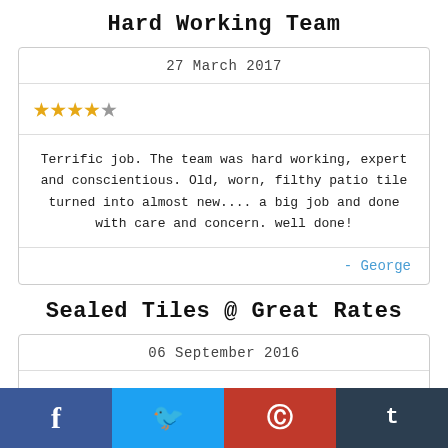Hard Working Team
27 March 2017
[Figure (other): 4.5 out of 5 stars rating: 4 full gold stars and 1 half/grey star]
Terrific job. The team was hard working, expert and conscientious. Old, worn, filthy patio tile turned into almost new.... a big job and done with care and concern. well done!
- George
Sealed Tiles @ Great Rates
06 September 2016
[Figure (other): 5 out of 5 stars rating: 5 full gold stars]